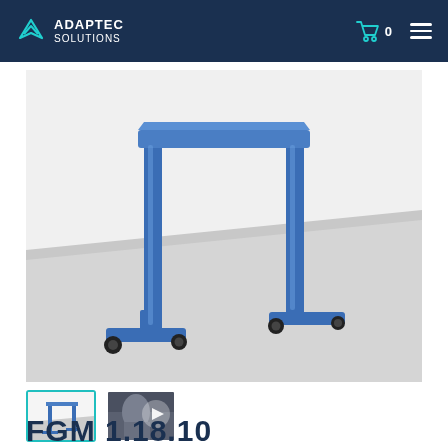ADAPTEC SOLUTIONS
[Figure (photo): 3D render of a blue gantry frame on wheels (FGM 1.18.10) on a grey floor, showing two vertical posts connected by a horizontal top beam, with T-shaped bases on casters.]
[Figure (photo): Small thumbnail of the gantry product image with teal border indicating selected state.]
[Figure (photo): Small thumbnail showing a video preview with play button triangle, depicting a person with the gantry frame.]
FGM 1.18.10